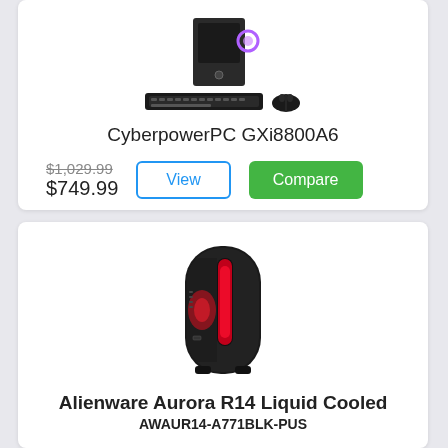[Figure (photo): CyberpowerPC gaming desktop tower with keyboard and mouse]
CyberpowerPC GXi8800A6
$1,029.99 (strikethrough) $749.99
[Figure (photo): Alienware Aurora R14 Liquid Cooled gaming desktop tower with red lighting]
Alienware Aurora R14 Liquid Cooled
AWAUR14-A771BLK-PUS